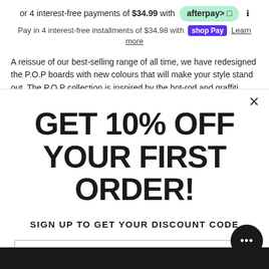or 4 interest-free payments of $34.99 with afterpay
Pay in 4 interest-free installments of $34.98 with Shop Pay Learn more
A reissue of our best-selling range of all time, we have redesigned the P.O.P boards with new colours that will make your style stand out. The P.O.P collection is inspired by the hot-rod and graffiti culture of the
GET 10% OFF YOUR FIRST ORDER!
SIGN UP TO GET YOUR DISCOUNT CODE
Enter Email